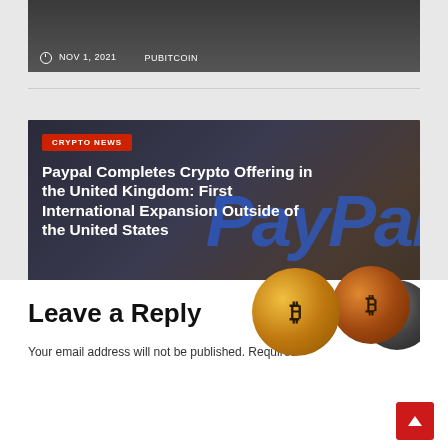[Figure (photo): Top article card with dark background showing date NOV 1, 2021 and author PUBITCOIN]
© NOV 1, 2021   PUBITCOIN
[Figure (photo): Article card with PayPal background, bitcoin coins, showing crypto news article]
CRYPTO NEWS
Paypal Completes Crypto Offering in the United Kingdom: First International Expansion Outside of the United States
© SEP 20, 2021   PUBITCOIN
Leave a Reply
Your email address will not be published. Required